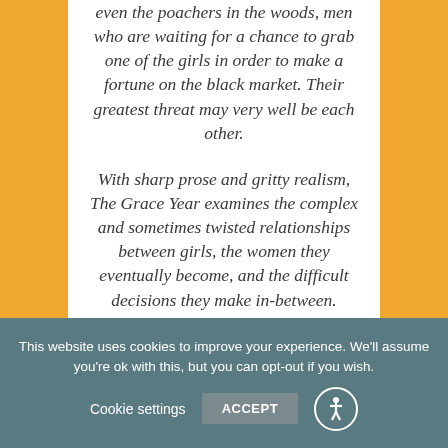even the poachers in the woods, men who are waiting for a chance to grab one of the girls in order to make a fortune on the black market. Their greatest threat may very well be each other.
With sharp prose and gritty realism, The Grace Year examines the complex and sometimes twisted relationships between girls, the women they eventually become, and the difficult decisions they make in-between.
Cookie notification: This website uses cookies to improve your experience. We'll assume you're ok with this, but you can opt-out if you wish.